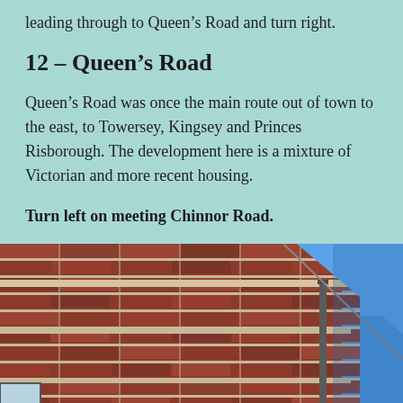leading through to Queen's Road and turn right.
12 – Queen's Road
Queen's Road was once the main route out of town to the east, to Towersey, Kingsey and Princes Risborough. The development here is a mixture of Victorian and more recent housing.
Turn left on meeting Chinnor Road.
[Figure (photo): Low-angle photograph of a Victorian red brick building corner against a clear blue sky, showing detailed brickwork with light-coloured mortar courses and a drainpipe on the right side.]